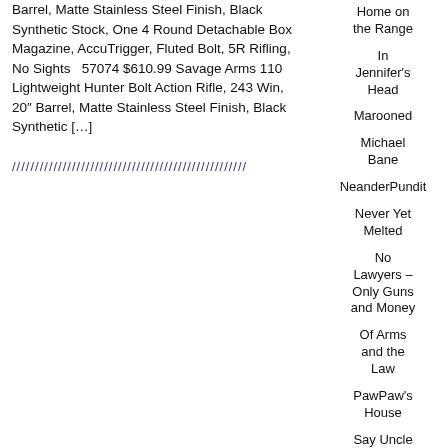Barrel, Matte Stainless Steel Finish, Black Synthetic Stock, One 4 Round Detachable Box Magazine, AccuTrigger, Fluted Bolt, 5R Rifling, No Sights   57074 $610.99 Savage Arms 110 Lightweight Hunter Bolt Action Rifle, 243 Win, 20" Barrel, Matte Stainless Steel Finish, Black Synthetic […]
[Figure (other): Decorative diagonal line divider]
Home on the Range
In Jennifer's Head
Marooned
Michael Bane
NeanderPundit
Never Yet Melted
No Lawyers – Only Guns and Money
Of Arms and the Law
PawPaw's House
Say Uncle
Splendid Isolation – Kim du Toit
TFS Magnum